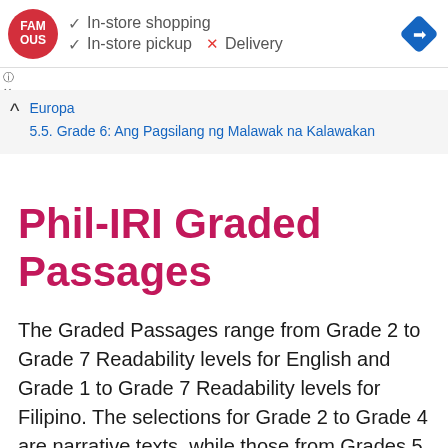[Figure (other): Advertisement banner for Famous Ous store showing in-store shopping checkmark, in-store pickup checkmark, Delivery X mark, store logo, and navigation icon]
Europa
5.5. Grade 6: Ang Pagsilang ng Malawak na Kalawakan
Phil-IRI Graded Passages
The Graded Passages range from Grade 2 to Grade 7 Readability levels for English and Grade 1 to Grade 7 Readability levels for Filipino. The selections for Grade 2 to Grade 4 are narrative texts, while those from Grades 5 to 7 are expository texts. The expository texts in Filipino deal with Social